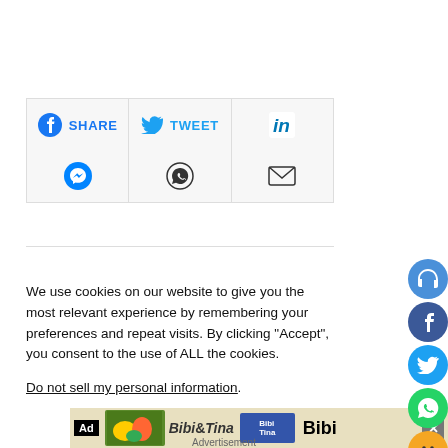[Figure (screenshot): Social share buttons row 1: Facebook SHARE, Twitter TWEET, LinkedIn]
[Figure (screenshot): Social share buttons row 2: Messenger, WhatsApp, Email]
We use cookies on our website to give you the most relevant experience by remembering your preferences and repeat visits. By clicking “Accept”, you consent to the use of ALL the cookies.
Do not sell my personal information.
[Figure (screenshot): Ad banner showing Bibi & Tina advertisement with Ad label and close button]
Advertisement
[Figure (screenshot): Floating side buttons: headset, Facebook, Twitter, WhatsApp, laugh emoji, red circle buttons]